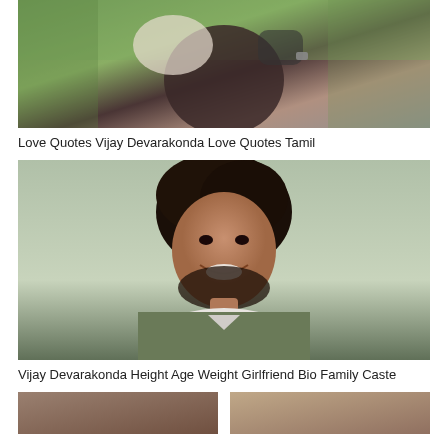[Figure (photo): Couple embracing outdoors with green blurred background. One person wearing white shirt carrying another in dark clothing.]
Love Quotes Vijay Devarakonda Love Quotes Tamil
[Figure (photo): Portrait of smiling young man with curly black hair and beard, wearing olive green shirt over white t-shirt, light background.]
Vijay Devarakonda Height Age Weight Girlfriend Bio Family Caste
[Figure (photo): Partial view of another photo at the bottom of the page, split into two halves.]